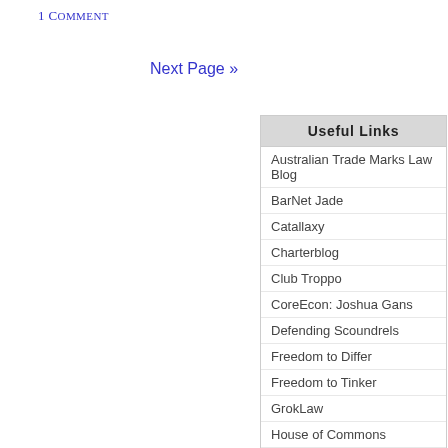1 Comment
Next Page »
Useful Links
Australian Trade Marks Law Blog
BarNet Jade
Catallaxy
Charterblog
Club Troppo
CoreEcon: Joshua Gans
Defending Scoundrels
Freedom to Differ
Freedom to Tinker
GrokLaw
House of Commons
How Appealing
Inchoate
IPKat
John Quiggin
Lawrence Lessig
Legal Theory